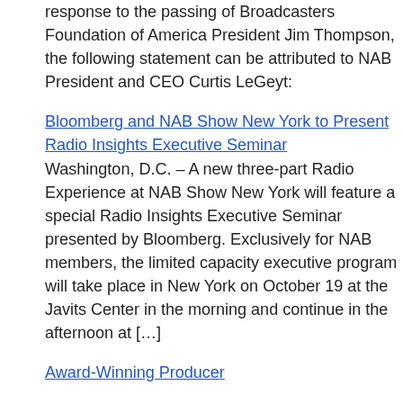response to the passing of Broadcasters Foundation of America President Jim Thompson, the following statement can be attributed to NAB President and CEO Curtis LeGeyt:
Bloomberg and NAB Show New York to Present Radio Insights Executive Seminar Washington, D.C. – A new three-part Radio Experience at NAB Show New York will feature a special Radio Insights Executive Seminar presented by Bloomberg. Exclusively for NAB members, the limited capacity executive program will take place in New York on October 19 at the Javits Center in the morning and continue in the afternoon at […]
Award-Winning Producer